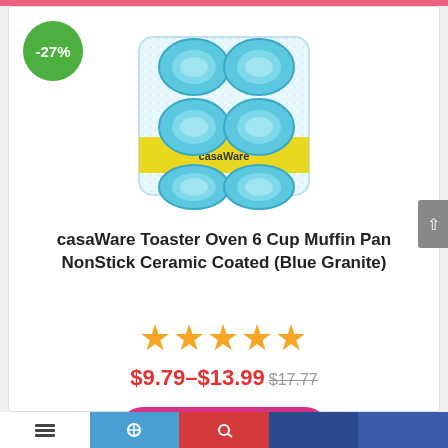[Figure (photo): Blue granite 6-cup muffin pan with -27% discount badge]
casaWare Toaster Oven 6 Cup Muffin Pan NonStick Ceramic Coated (Blue Granite)
★★★★★
$9.79–$13.99 $17.77
GO TO AMAZON